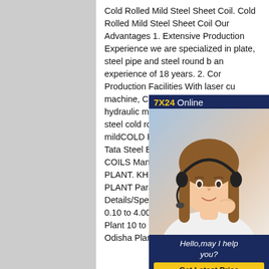Cold Rolled Mild Steel Sheet Coil. Cold Rolled Mild Steel Sheet Coil Our Advantages 1. Extensive Production Experience we are specialized in plate, steel pipe and steel round b an experience of 18 years. 2. Cor Production Facilities With laser cu machine, CNC bending machine, hydraulic machine, 110 T pneuma rolled steel cold rolled mild steel s coils mildCOLD ROLLED STEEL SHEETS - Tata Steel BSL Ltd.CO ROLLED STEEL COILS Manufac Area's. SAHIBABAD PLANT. KHOPOLI PLANT. ODISHA PLANT Parameters Technical Details/Specifications Thickness (mm) 0.10 to 4.00 Width (mm) - Sahibabad Plant 10 to 1700 (Max) Width (mm) - Odisha Plant rolled steel cold
[Figure (other): Customer service chat widget showing a woman with a headset, '7X24 Online' header in dark navy, 'Hello,may I help you?' text, and a yellow 'Get Latest Price' button]